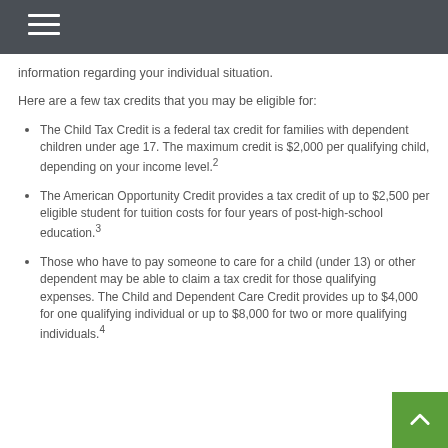information regarding your individual situation.
Here are a few tax credits that you may be eligible for:
The Child Tax Credit is a federal tax credit for families with dependent children under age 17. The maximum credit is $2,000 per qualifying child, depending on your income level.²
The American Opportunity Credit provides a tax credit of up to $2,500 per eligible student for tuition costs for four years of post-high-school education.³
Those who have to pay someone to care for a child (under 13) or other dependent may be able to claim a tax credit for those qualifying expenses. The Child and Dependent Care Credit provides up to $4,000 for one qualifying individual or up to $8,000 for two or more qualifying individuals.⁴